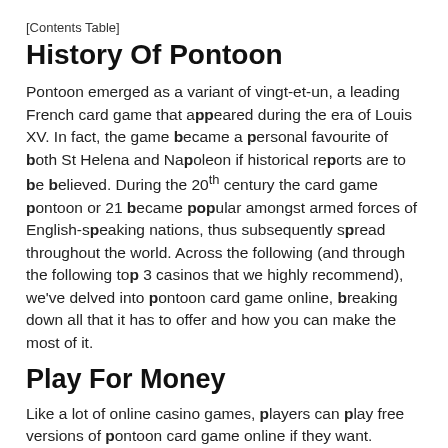[Contents Table]
History Of Pontoon
Pontoon emerged as a variant of vingt-et-un, a leading French card game that appeared during the era of Louis XV. In fact, the game became a personal favourite of both St Helena and Napoleon if historical reports are to be believed. During the 20th century the card game pontoon or 21 became popular amongst armed forces of English-speaking nations, thus subsequently spread throughout the world. Across the following (and through the following top 3 casinos that we highly recommend), we've delved into pontoon card game online, breaking down all that it has to offer and how you can make the most of it.
Play For Money
Like a lot of online casino games, players can play free versions of pontoon card game online if they want. Whether it is via an online casino or social